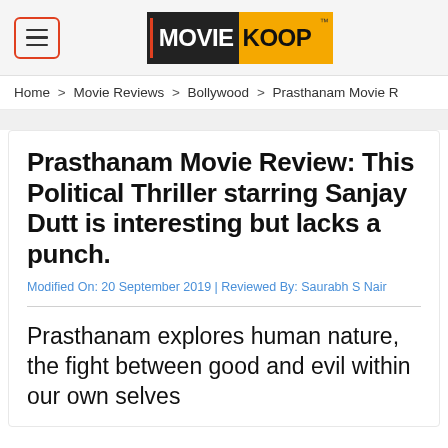[Figure (logo): MovieKoop logo with hamburger menu button]
Home > Movie Reviews > Bollywood > Prasthanam Movie R
Prasthanam Movie Review: This Political Thriller starring Sanjay Dutt is interesting but lacks a punch.
Modified On: 20 September 2019 | Reviewed By: Saurabh S Nair
Prasthanam explores human nature, the fight between good and evil within our own selves